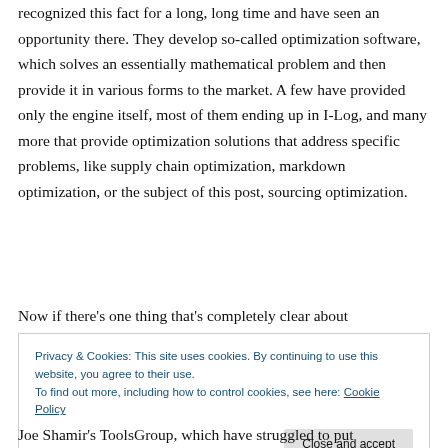recognized this fact for a long, long time and have seen an opportunity there. They develop so-called optimization software, which solves an essentially mathematical problem and then provide it in various forms to the market. A few have provided only the engine itself, most of them ending up in I-Log, and many more that provide optimization solutions that address specific problems, like supply chain optimization, markdown optimization, or the subject of this post, sourcing optimization.
Now if there's one thing that's completely clear about
Privacy & Cookies: This site uses cookies. By continuing to use this website, you agree to their use.
To find out more, including how to control cookies, see here: Cookie Policy
Joe Shamir's ToolsGroup, which have struggled to put